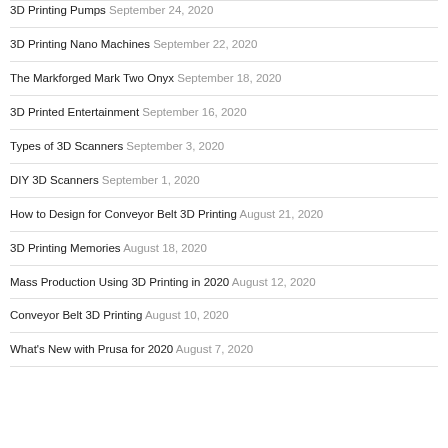3D Printing Pumps September 24, 2020
3D Printing Nano Machines September 22, 2020
The Markforged Mark Two Onyx September 18, 2020
3D Printed Entertainment September 16, 2020
Types of 3D Scanners September 3, 2020
DIY 3D Scanners September 1, 2020
How to Design for Conveyor Belt 3D Printing August 21, 2020
3D Printing Memories August 18, 2020
Mass Production Using 3D Printing in 2020 August 12, 2020
Conveyor Belt 3D Printing August 10, 2020
What's New with Prusa for 2020 August 7, 2020